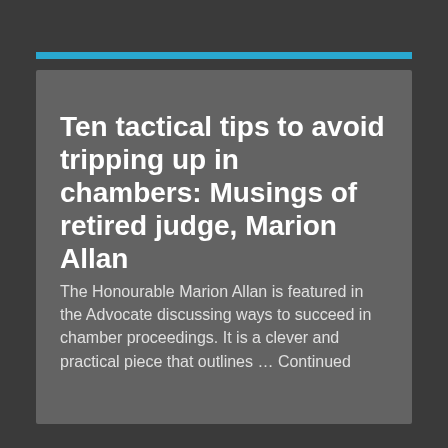Ten tactical tips to avoid tripping up in chambers: Musings of retired judge, Marion Allan
The Honourable Marion Allan is featured in the Advocate discussing ways to succeed in chamber proceedings. It is a clever and practical piece that outlines … Continued